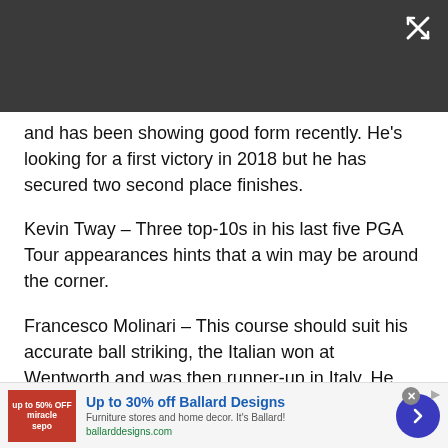and has been showing good form recently. He's looking for a first victory in 2018 but he has secured two second place finishes.
Kevin Tway – Three top-10s in his last five PGA Tour appearances hints that a win may be around the corner.
Francesco Molinari – This course should suit his accurate ball striking, the Italian won at Wentworth and was then runner-up in Italy. He also bagged a top-25 in the U.S. Open.
Key hole: 16th. At just over 400 yards, this one looks
[Figure (other): Advertisement banner: Up to 30% off Ballard Designs. Furniture stores and home decor. It's Ballard! ballarddesigns.com]